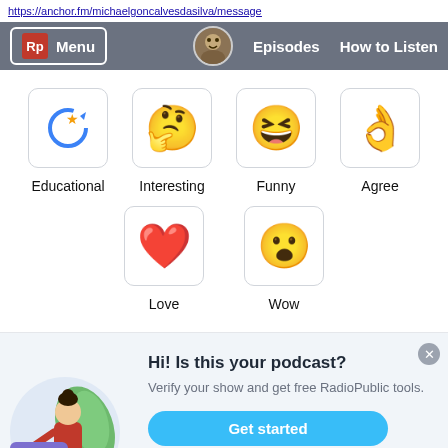https://anchor.fm/michaelgoncalvesdasilva/message
[Figure (screenshot): RadioPublic navigation bar with Rp logo, Menu button, podcast avatar, Episodes and How to Listen links]
[Figure (infographic): Six podcast reaction options in rounded boxes: Educational (star refresh emoji), Interesting (thinking face emoji), Funny (laughing face emoji), Agree (ok hand emoji), Love (red heart emoji), Wow (surprised face emoji)]
[Figure (illustration): Promo card: illustrated woman with verification card, text Hi! Is this your podcast? Verify your show and get free RadioPublic tools. Get started button.]